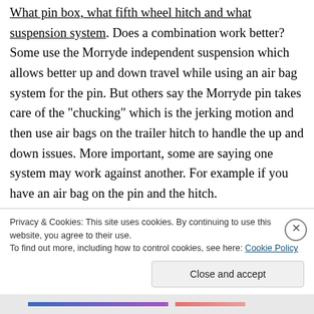What pin box, what fifth wheel hitch and what suspension system. Does a combination work better? Some use the Morryde independent suspension which allows better up and down travel while using an air bag system for the pin. But others say the Morryde pin takes care of the “chucking” which is the jerking motion and then use air bags on the trailer hitch to handle the up and down issues. More important, some are saying one system may work against another. For example if you have an air bag on the pin and the hitch.
Privacy & Cookies: This site uses cookies. By continuing to use this website, you agree to their use.
To find out more, including how to control cookies, see here: Cookie Policy
Close and accept